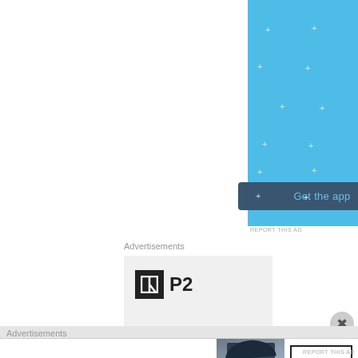[Figure (illustration): Light blue advertisement banner with sparkle/plus decorations and a dark blue 'Get the app' button at center]
REPORT THIS AD
Advertisements
[Figure (logo): P2 logo: black square with stylized H icon followed by bold P2 text, on light grey background]
Advertisements
[Figure (illustration): Bloomingdale's advertisement banner: brand name in italic, 'View Today's Top Deals!' tagline, model wearing wide-brim hat, SHOP NOW button]